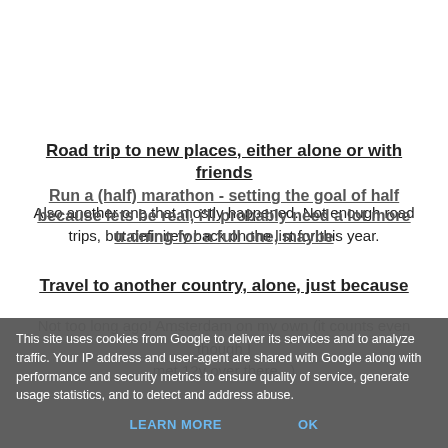Road trip to new places, either alone or with friends
Also another one that mostly happened. Not enough road trips, but definitely back on the list for this year.
Travel to another country, alone, just because
Not too long ago! Amsterdam on my own (it counts even though I met 12y over there...)
Run a (half) marathon - setting the goal of half because lets be real, i'll probably need a lot more training for a full one, maybe
This site uses cookies from Google to deliver its services and to analyze traffic. Your IP address and user-agent are shared with Google along with performance and security metrics to ensure quality of service, generate usage statistics, and to detect and address abuse.